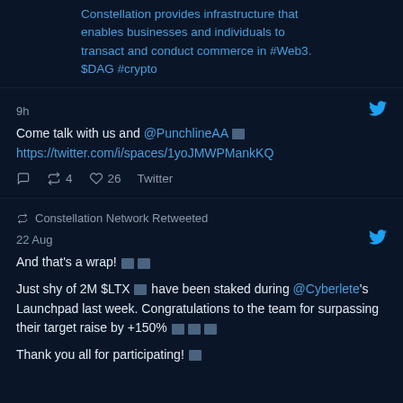Constellation provides infrastructure that enables businesses and individuals to transact and conduct commerce in #Web3. $DAG #crypto
9h
Come talk with us and @PunchlineAA 🟰 https://twitter.com/i/spaces/1yoJMWPMankKQ
↩ 4  ♡ 26  Twitter
↩ Constellation Network Retweeted
22 Aug
And that's a wrap! 🟰 🟰
Just shy of 2M $LTX 🟰 have been staked during @Cyberlete's Launchpad last week. Congratulations to the team for surpassing their target raise by +150% 🟰🟰🟰
Thank you all for participating! 🟰